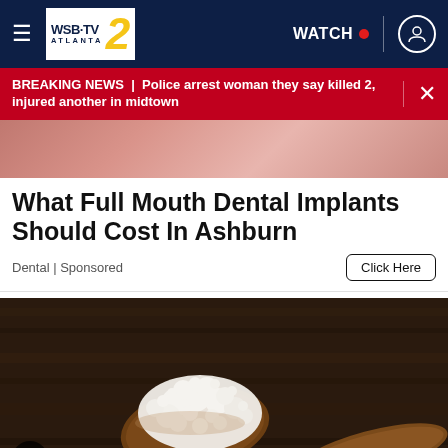[Figure (logo): WSB-TV 2 Atlanta navigation bar with hamburger menu, logo, WATCH button with red dot, and user icon]
BREAKING NEWS | Police arrest woman they say killed 2, injured another in midtown
[Figure (photo): Skin texture close-up advertisement image]
What Full Mouth Dental Implants Should Cost In Ashburn
Dental | Sponsored
Click Here
[Figure (photo): White kefir grains on a wooden spoon against a dark wooden background]